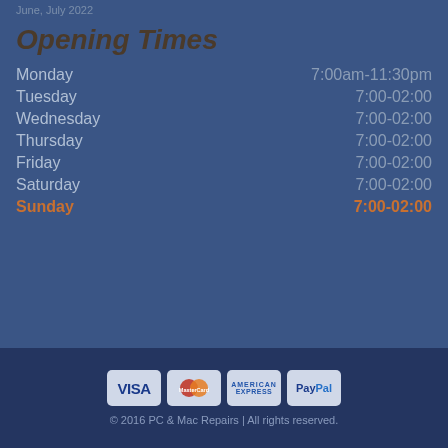June, July 2022
Opening Times
Monday    7:00am-11:30pm
Tuesday    7:00-02:00
Wednesday    7:00-02:00
Thursday    7:00-02:00
Friday    7:00-02:00
Saturday    7:00-02:00
Sunday    7:00-02:00
[Figure (other): Payment method logos: VISA, MasterCard, American Express, PayPal]
© 2016 PC & Mac Repairs | All rights reserved.